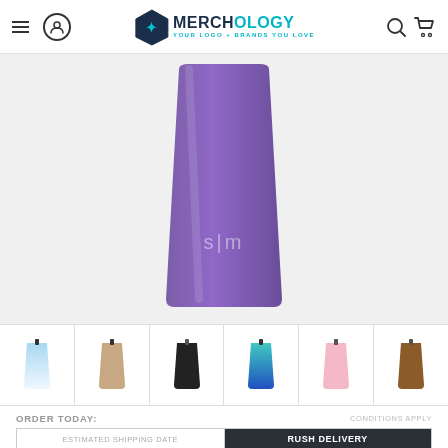Merchology — Your Logo + Brands You Love
[Figure (photo): Purple/violet insulated tumbler cup with 'slm' logo on front, shown on white/light gray background]
[Figure (photo): Six color variant thumbnails of the tumbler: light blue gradient, beige/sand, black, teal/blue gradient, pink, brown]
ORDER TODAY:
CONDITIONS APPLY
| ESTIMATED SHIPPING DATE | RUSH DELIVERY |
| --- | --- |
| November
1 | Need it shipped sooner? Contact us |